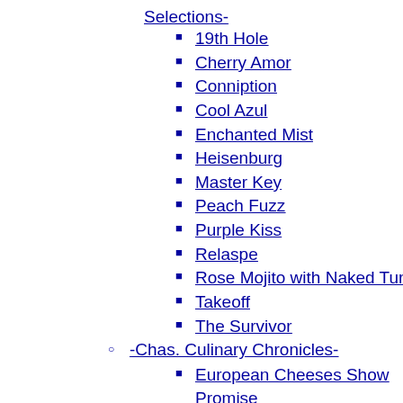Selections-
19th Hole
Cherry Amor
Conniption
Cool Azul
Enchanted Mist
Heisenburg
Master Key
Peach Fuzz
Purple Kiss
Relaspe
Rose Mojito with Naked Turtle
Takeoff
The Survivor
-Chas. Culinary Chronicles-
European Cheeses Show Promise
2014 Taste of Charleston
Shrimp & Grits Competition
The Restaurant